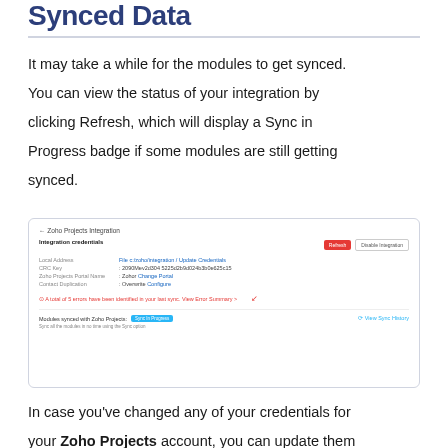Synced Data
It may take a while for the modules to get synced. You can view the status of your integration by clicking Refresh, which will display a Sync in Progress badge if some modules are still getting synced.
[Figure (screenshot): Screenshot of Zoho Projects Integration panel showing Integration credentials, a Refresh button, Disable Integration button, field rows for Local Address, CRC Key, Zoho Projects Portal Name, Contact Duplication, an alert about errors found, modules synced section with Sync In Progress badge, and View Sync History link.]
In case you've changed any of your credentials for your Zoho Projects account, you can update them by clicking Show Details from the Integrations